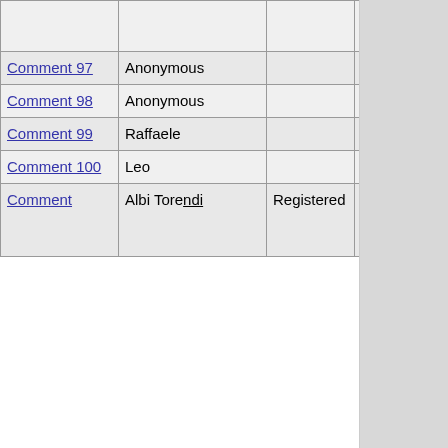| Link | Name | Type | Date |
| --- | --- | --- | --- |
| (partial) |  |  | ...GMT |
| Comment 97 | Anonymous |  | 11-Aug-2003 12:24 GMT |
| Comment 98 | Anonymous |  | 11-Aug-2003 12:29 GMT |
| Comment 99 | Raffaele |  | 11-Aug-2003 12:31 GMT |
| Comment 100 | Leo |  | 11-Aug-2003 12:36 GMT |
| Comment (partial) | Albi... (partial) | Registered | 11-Aug-... |